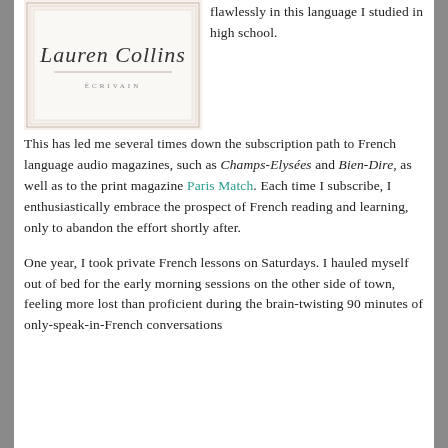[Figure (illustration): Book cover with cursive text 'Lauren Collins' and subtitle 'ÉCRIVAIN' on a light background with a simple border frame]
flawlessly in this language I studied in high school.
This has led me several times down the subscription path to French language audio magazines, such as Champs-Elysées and Bien-Dire, as well as to the print magazine Paris Match. Each time I subscribe, I enthusiastically embrace the prospect of French reading and learning, only to abandon the effort shortly after.
One year, I took private French lessons on Saturdays. I hauled myself out of bed for the early morning sessions on the other side of town, feeling more lost than proficient during the brain-twisting 90 minutes of only-speak-in-French conversations